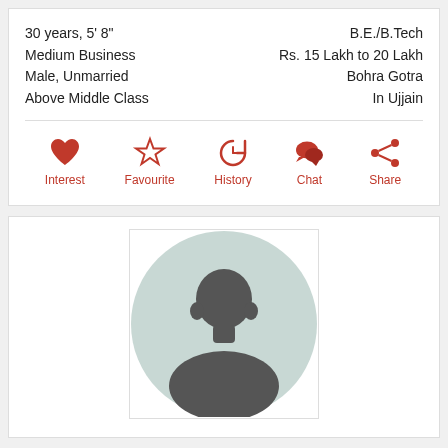30 years, 5' 8"
Medium Business
Male, Unmarried
Above Middle Class
B.E./B.Tech
Rs. 15 Lakh to 20 Lakh
Bohra Gotra
In Ujjain
[Figure (infographic): Action icons: Interest (heart), Favourite (star), History (clock), Chat (speech bubbles), Share (network icon)]
[Figure (photo): Default male silhouette placeholder profile photo inside a square frame]